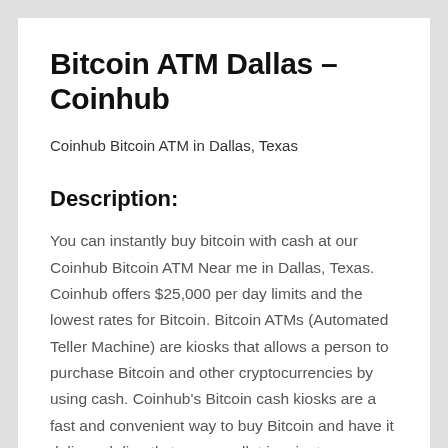Bitcoin ATM Dallas – Coinhub
Coinhub Bitcoin ATM in Dallas, Texas
Description:
You can instantly buy bitcoin with cash at our Coinhub Bitcoin ATM Near me in Dallas, Texas. Coinhub offers $25,000 per day limits and the lowest rates for Bitcoin. Bitcoin ATMs (Automated Teller Machine) are kiosks that allows a person to purchase Bitcoin and other cryptocurrencies by using cash. Coinhub's Bitcoin cash kiosks are a fast and convenient way to buy Bitcoin and have it delivered directly to your wallet in minutes. Coinhub Bitcoin machines are easy to use